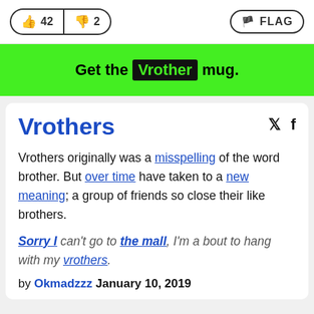[Figure (screenshot): Vote buttons: thumbs up 42, thumbs down 2, and FLAG button]
Get the Vrother mug.
Vrothers
Vrothers originally was a misspelling of the word brother. But over time have taken to a new meaning; a group of friends so close their like brothers.
Sorry I can't go to the mall, I'm a bout to hang with my vrothers.
by Okmadzzz January 10, 2019